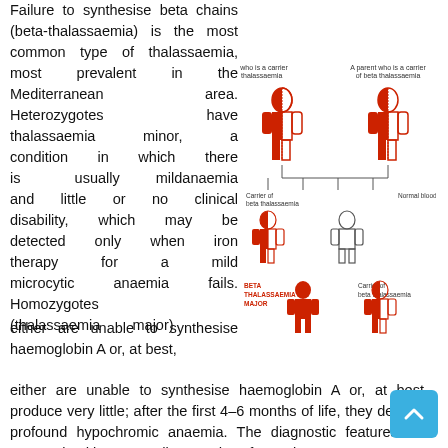Failure to synthesise beta chains (beta-thalassaemia) is the most common type of thalassaemia, most prevalent in the Mediterranean area. Heterozygotes have thalassaemia minor, a condition in which there is usually mildanaemia and little or no clinical disability, which may be detected only when iron therapy for a mild microcytic anaemia fails. Homozygotes (thalassaemia major) either are unable to synthesise haemoglobin A or, at best, produce very little; after the first 4–6 months of life, they develop profound hypochromic anaemia. The diagnostic features are summarised in Intermediate grades of severity occur.
[Figure (illustration): Diagram showing inheritance pattern of beta thalassaemia. Two carrier parents at top (each half red, half white body silhouette). Bottom row shows four possible offspring: Carrier of beta thalassaemia (half red), Normal blood (white), Beta Thalassaemia Major (full red), Carrier of beta thalassaemia (half red).]